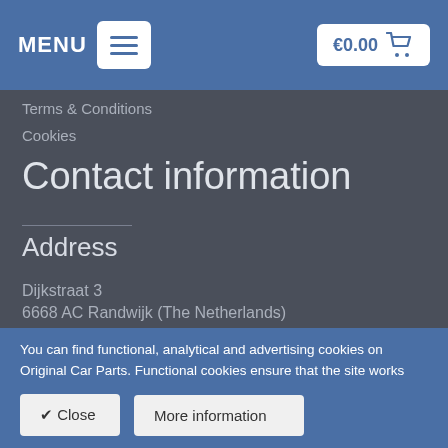MENU   €0.00
Terms & Conditions
Cookies
Contact information
Address
Dijkstraat 3
6668 AC Randwijk (The Netherlands)
You can find functional, analytical and advertising cookies on Original Car Parts. Functional cookies ensure that the site works properly. Think, for example, of cookies for our search function. If you continue to our website you agree that we use cookies. Want to know more about cookies? Then click on more information
✔ Close   More information